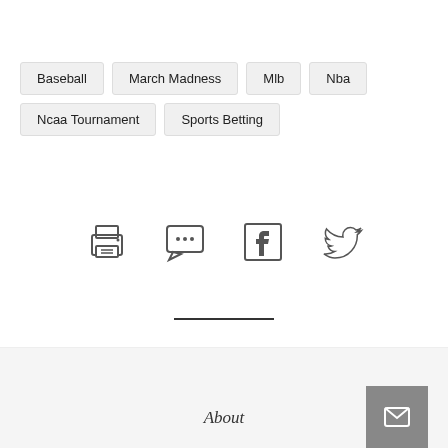Baseball
March Madness
Mlb
Nba
Ncaa Tournament
Sports Betting
[Figure (infographic): Row of social/sharing icons: printer icon, comment/chat icon, Facebook icon, Twitter bird icon]
About